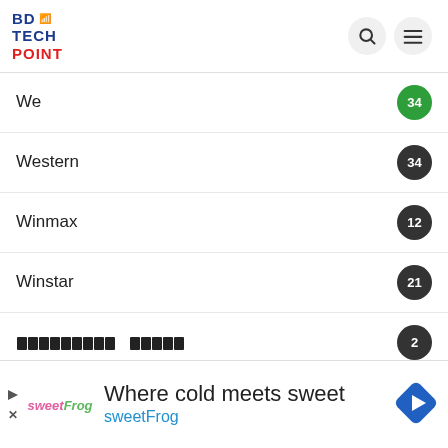BD TECH POINT
We — 34
Western — 34
Winmax — 12
Winstar — 21
[Bangla text] — 2
[Bangla text] — 1
[Bangla text] — 4
[Figure (screenshot): Advertisement banner: sweetFrog – Where cold meets sweet]
Where cold meets sweet
sweetFrog